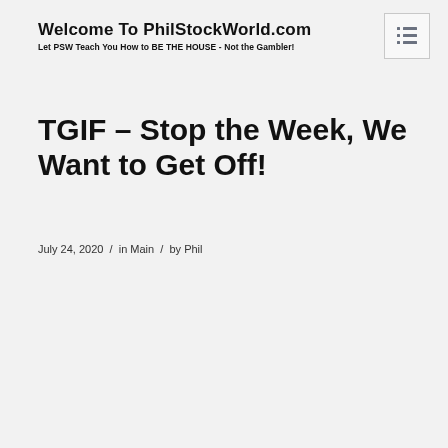Welcome To PhilStockWorld.com
Let PSW Teach You How to BE THE HOUSE - Not the Gambler!
TGIF – Stop the Week, We Want to Get Off!
July 24, 2020  /  in Main  /  by Phil